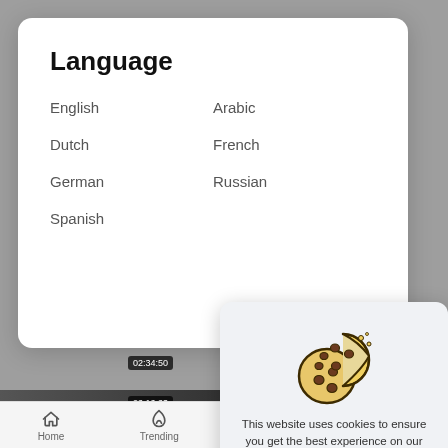Language
English
Arabic
Dutch
French
German
Russian
Spanish
[Figure (screenshot): Video thumbnails showing movie content with timestamps 02:34:50 and 02:12:23, Bichoo and Bollywood labels]
[Figure (illustration): Cookie icon - two chocolate chip cookies, one with a bite taken out]
This website uses cookies to ensure you get the best experience on our website. Learn More
Got It!
Home  Trending  Top Videos  Movies